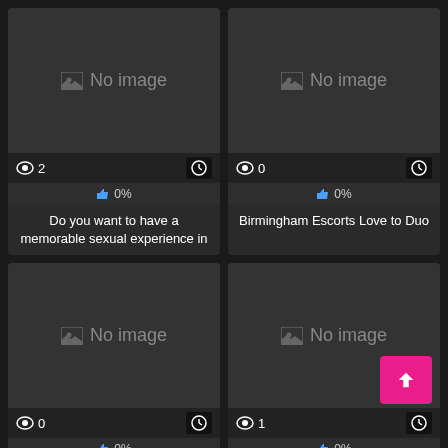[Figure (screenshot): Card with no image placeholder, 2 views, 0% likes, title: Do you want to have a memorable sexual experience in]
[Figure (screenshot): Card with no image placeholder, 0 views, 0% likes, title: Birmingham Escorts Love to Duo]
[Figure (screenshot): Card with no image placeholder, 0 views, 0% likes, title: Want a libido filled San Diego Escorts?]
[Figure (screenshot): Card with no image placeholder, 1 view, 0% likes, title: Curious to hook up with model like call girls of Mumbai]
[Figure (screenshot): Bottom strip showing two dark thumbnail placeholders and a pink back-to-top button]